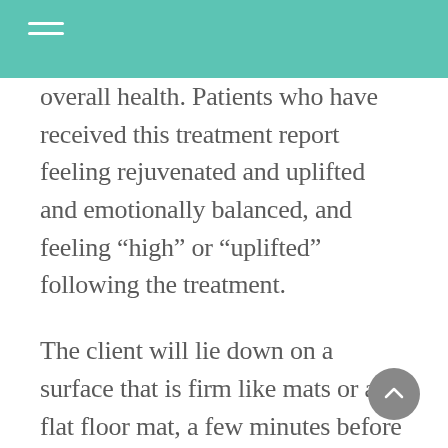overall health. Patients who have received this treatment report feeling rejuvenated and uplifted and emotionally balanced, and feeling “high” or “uplifted” following the treatment.
The client will lie down on a surface that is firm like mats or a flat floor mat, a few minutes before the therapist begins. The therapist will place their hands in a praying gesture before beginning their session. The therapist will place the client’s body on the floor mat in various positions. If the client is lying down on their back, the therapist will